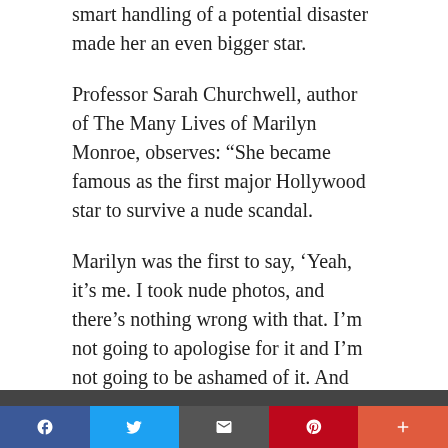smart handling of a potential disaster made her an even bigger star.
Professor Sarah Churchwell, author of The Many Lives of Marilyn Monroe, observes: “She became famous as the first major Hollywood star to survive a nude scandal.
Marilyn was the first to say, ‘Yeah, it’s me. I took nude photos, and there’s nothing wrong with that. I’m not going to apologise for it and I’m not going to be ashamed of it. And guess what? I’m still a movie star.’”
[Figure (photo): Partial photo visible at bottom of page]
Social share bar: Facebook, Twitter, Email, Pinterest, More